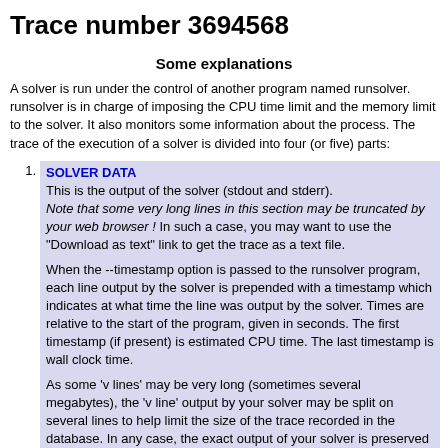Trace number 3694568
Some explanations
A solver is run under the control of another program named runsolver. runsolver is in charge of imposing the CPU time limit and the memory limit to the solver. It also monitors some information about the process. The trace of the execution of a solver is divided into four (or five) parts:
SOLVER DATA
This is the output of the solver (stdout and stderr).
Note that some very long lines in this section may be truncated by your web browser ! In such a case, you may want to use the "Download as text" link to get the trace as a text file.

When the --timestamp option is passed to the runsolver program, each line output by the solver is prepended with a timestamp which indicates at what time the line was output by the solver. Times are relative to the start of the program, given in seconds. The first timestamp (if present) is estimated CPU time. The last timestamp is wall clock time.

As some 'v lines' may be very long (sometimes several megabytes), the 'v line' output by your solver may be split on several lines to help limit the size of the trace recorded in the database. In any case, the exact output of your solver is preserved in a trace file.
VERIFIER DATA
The output of the solver is piped to a verifier program which will